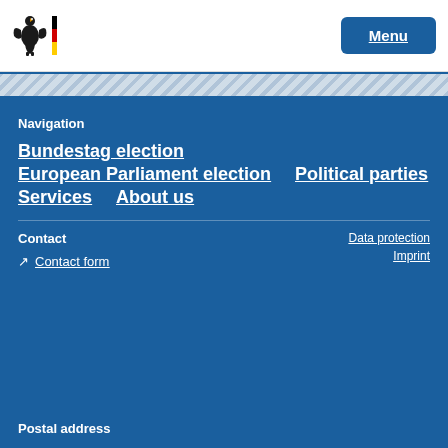Menu
Navigation
Bundestag election
European Parliament election
Political parties
Services
About us
Contact
Data protection
Imprint
Contact form
Postal address